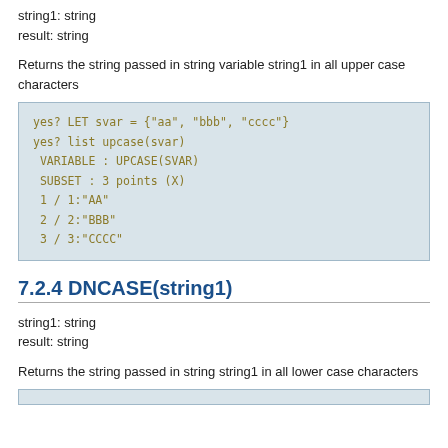string1: string
result: string
Returns the string passed in string variable string1 in all upper case characters
yes? LET svar = {"aa", "bbb", "cccc"}
yes? list upcase(svar)
 VARIABLE : UPCASE(SVAR)
 SUBSET : 3 points (X)
 1 / 1:"AA"
 2 / 2:"BBB"
 3 / 3:"CCCC"
7.2.4 DNCASE(string1)
string1: string
result: string
Returns the string passed in string string1 in all lower case characters